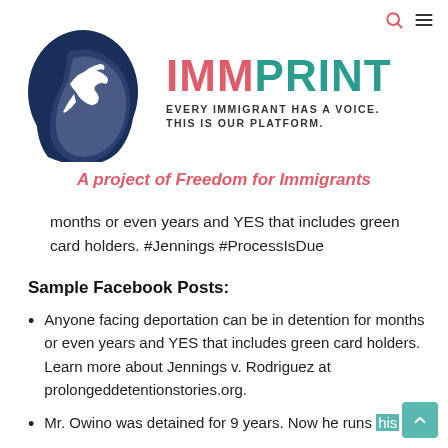[Figure (logo): IMMPrint logo: dark navy silhouette of a person's head in profile with a dove inside, text IMMPRINT with IMM in salmon/red and PRINT in teal, tagline EVERY IMMIGRANT HAS A VOICE. THIS IS OUR PLATFORM.]
A project of Freedom for Immigrants
months or even years and YES that includes green card holders. #Jennings #ProcessIsDue
Sample Facebook Posts:
Anyone facing deportation can be in detention for months or even years and YES that includes green card holders. Learn more about Jennings v. Rodriguez at prolongeddetentionstories.org.
Mr. Owino was detained for 9 years. Now he runs his